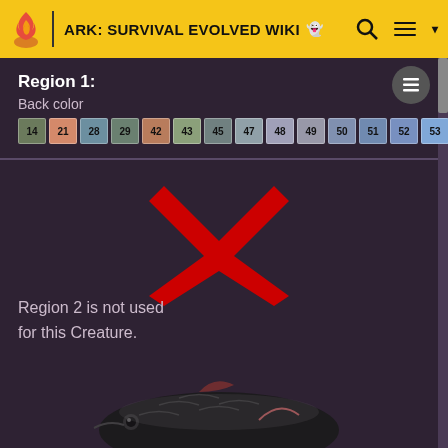ARK: SURVIVAL EVOLVED WIKI
Region 1:
Back color
[Figure (other): Color swatches numbered 14, 21, 28, 29, 42, 43, 45, 47, 48, 49, 50, 51, 52, 53, 55, 56]
[Figure (other): Large red X mark indicating region is not used]
Region 2 is not used for this Creature.
[Figure (photo): Partial image of a fish creature (Coelacanth or similar) from ARK game]